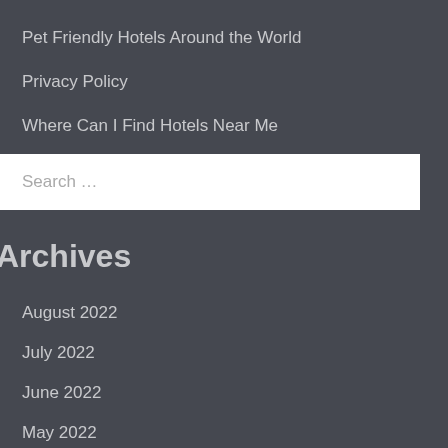Pet Friendly Hotels Around the World
Privacy Policy
Where Can I Find Hotels Near Me
Search ...
Archives
August 2022
July 2022
June 2022
May 2022
March 2022